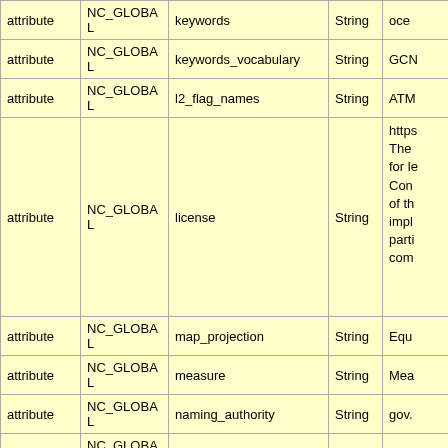| attribute | NC_GLOBAL | name | type | value |
| --- | --- | --- | --- | --- |
| attribute | NC_GLOBAL | keywords | String | oce… |
| attribute | NC_GLOBAL | keywords_vocabulary | String | GCN… |
| attribute | NC_GLOBAL | l2_flag_names | String | ATM… |
| attribute | NC_GLOBAL | license | String | https… The for le Con of th impl part com… |
| attribute | NC_GLOBAL | map_projection | String | Equ… |
| attribute | NC_GLOBAL | measure | String | Mea… |
| attribute | NC_GLOBAL | naming_authority | String | gov.… |
| attribute | NC_GLOBAL | Northernmost_Northing | double | 89.9… |
| attribute | NC_GLOBAL | platform | String | Suo… |
| attribute | NC_GLOBAL | processing_level | String | L3 M… |
| attribute | NC_GLOBAL | processing_version | String | 2018… |
| attribute | NC_GLOBAL | project | String | Oce… |
| attribute | NC_GLOBAL | publisher_email | String | data… |
| attribute | NC_GLOBAL | publisher_name | String | NAS… |
| attribute | NC_GLOBAL | publisher_url | String | https… |